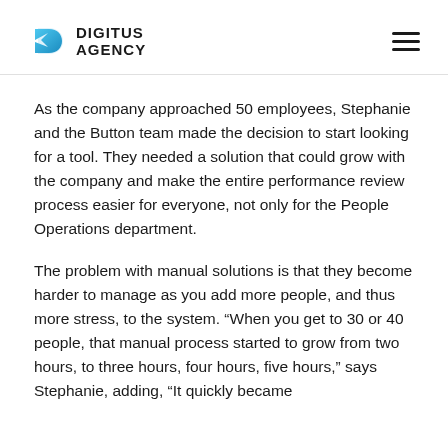DIGITUS AGENCY
As the company approached 50 employees, Stephanie and the Button team made the decision to start looking for a tool. They needed a solution that could grow with the company and make the entire performance review process easier for everyone, not only for the People Operations department.
The problem with manual solutions is that they become harder to manage as you add more people, and thus more stress, to the system. “When you get to 30 or 40 people, that manual process started to grow from two hours, to three hours, four hours, five hours,” says Stephanie, adding, “It quickly became